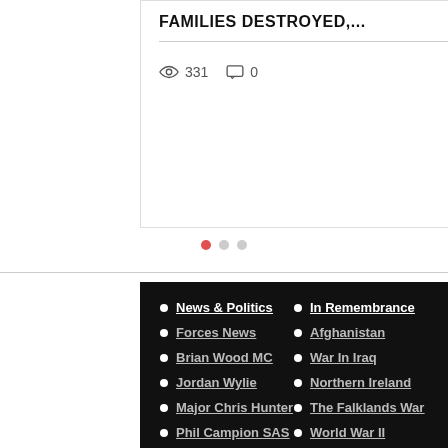FAMILIES DESTROYED,...
331 views  0 comments  Like
[Figure (other): Carousel pagination dots: one red active dot followed by two grey inactive dots]
News & Politics
In Remembrance
Forces News
Afghanistan
Brian Wood MC
War In Iraq
Jordan Wylie
Northern Ireland
Major Chris Hunter
The Falklands War
Phil Campion SAS
World War II
Robin Horsfall SAS
World War I